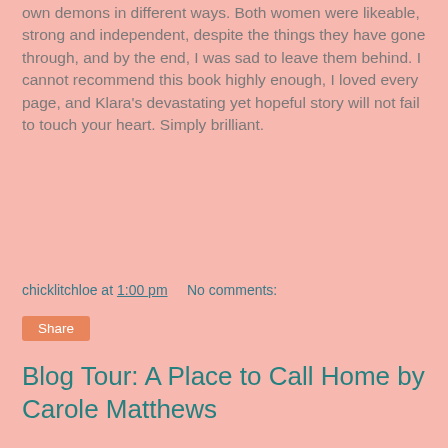own demons in different ways. Both women were likeable, strong and independent, despite the things they have gone through, and by the end, I was sad to leave them behind. I cannot recommend this book highly enough, I loved every page, and Klara's devastating yet hopeful story will not fail to touch your heart. Simply brilliant.
chicklitchloe at 1:00 pm    No comments:
Share
Blog Tour: A Place to Call Home by Carole Matthews
[Figure (illustration): Book cover of 'A Place to Call Home' by Carole Matthews, described as by The Sunday Times Bestselling Author. Cover shows a woman and child walking toward a large house with a red door, surrounded by gardens.]